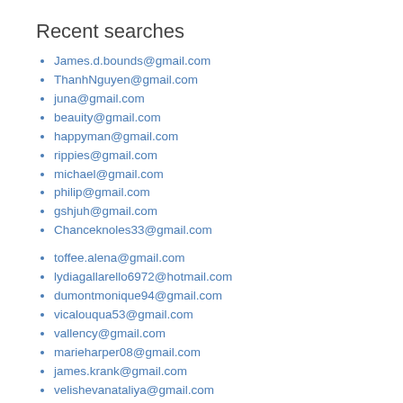Recent searches
James.d.bounds@gmail.com
ThanhNguyen@gmail.com
juna@gmail.com
beauity@gmail.com
happyman@gmail.com
rippies@gmail.com
michael@gmail.com
philip@gmail.com
gshjuh@gmail.com
Chanceknoles33@gmail.com
toffee.alena@gmail.com
lydiagallarello6972@hotmail.com
dumontmonique94@gmail.com
vicalouqua53@gmail.com
vallency@gmail.com
marieharper08@gmail.com
james.krank@gmail.com
velishevanataliya@gmail.com